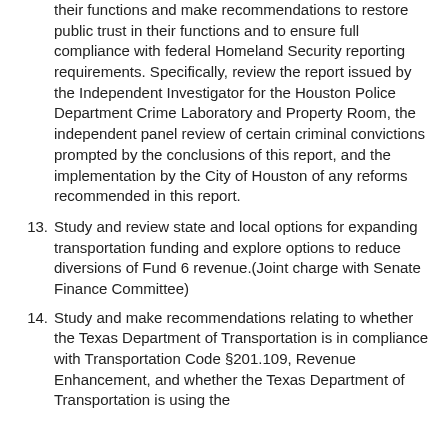their functions and make recommendations to restore public trust in their functions and to ensure full compliance with federal Homeland Security reporting requirements. Specifically, review the report issued by the Independent Investigator for the Houston Police Department Crime Laboratory and Property Room, the independent panel review of certain criminal convictions prompted by the conclusions of this report, and the implementation by the City of Houston of any reforms recommended in this report.
13. Study and review state and local options for expanding transportation funding and explore options to reduce diversions of Fund 6 revenue.(Joint charge with Senate Finance Committee)
14. Study and make recommendations relating to whether the Texas Department of Transportation is in compliance with Transportation Code §201.109, Revenue Enhancement, and whether the Texas Department of Transportation is using the